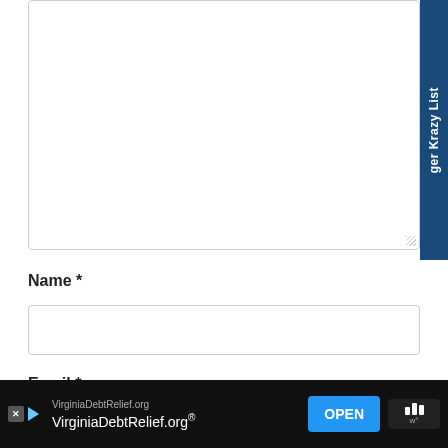[Figure (screenshot): Empty comment textarea input box with resize handle at bottom-right corner]
Name *
[Figure (screenshot): Empty name text input field]
Email *
[Figure (screenshot): Advertisement banner: VirginiaDebtRelief.org with OPEN button]